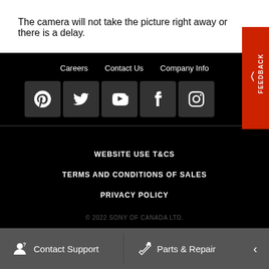The camera will not take the picture right away or there is a delay.
Careers  Contact Us  Company Info
[Figure (illustration): Social media icons: Pinterest, Twitter, YouTube, Facebook, Instagram in dark square tiles on black background. Orange FEEDBACK tab on right side.]
WEBSITE USE T&CS
TERMS AND CONDITIONS OF SALES
PRIVACY POLICY
© 2022 SONY OF CANADA LTD.
Contact Support  Parts & Repair